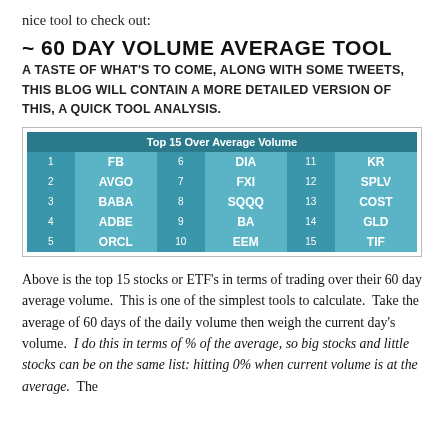nice tool to check out:
~ 60 DAY VOLUME AVERAGE TOOL
A TASTE OF WHAT'S TO COME, ALONG WITH SOME TWEETS, THIS BLOG WILL CONTAIN A MORE DETAILED VERSION OF THIS, A QUICK TOOL ANALYSIS.
| Top 15 Over Average Volume |
| --- |
| 1 | FB | 6 | DIA | 11 | KR |
| 2 | AVGO | 7 | FXI | 12 | SPLV |
| 3 | BABA | 8 | SQQQ | 13 | COST |
| 4 | ADBE | 9 | BA | 14 | GLD |
| 5 | ORCL | 10 | EEM | 15 | TIF |
Above is the top 15 stocks or ETF's in terms of trading over their 60 day average volume.  This is one of the simplest tools to calculate.  Take the average of 60 days of the daily volume then weigh the current day's volume.  I do this in terms of % of the average, so big stocks and little stocks can be on the same list: hitting 0% when current volume is at the average.  The